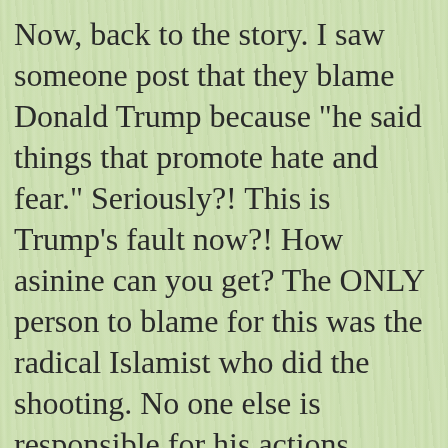Now, back to the story. I saw someone post that they blame Donald Trump because "he said things that promote hate and fear." Seriously?! This is Trump's fault now?! How asinine can you get? The ONLY person to blame for this was the radical Islamist who did the shooting. No one else is responsible for his actions.
This goes hand in hand with me